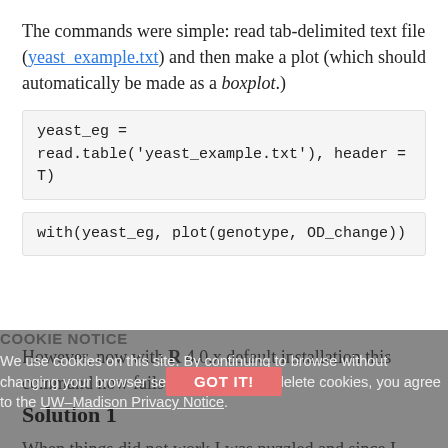The commands were simple: read tab-delimited text file (yeast_example.txt) and then make a plot (which should automatically be made as a boxplot.)
However, now with R 4.0.x default installation this command now fails
Solution 1
When things did not work I was puzzled and since I had not used R for a while I simply went to search online and found